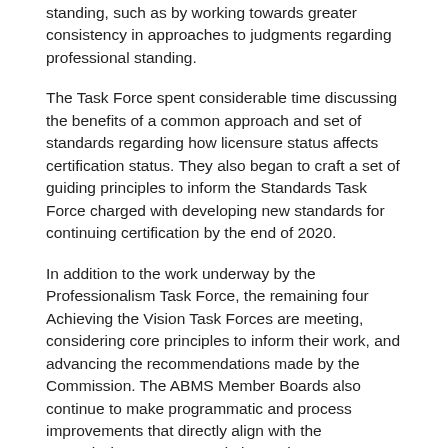standing, such as by working towards greater consistency in approaches to judgments regarding professional standing.
The Task Force spent considerable time discussing the benefits of a common approach and set of standards regarding how licensure status affects certification status. They also began to craft a set of guiding principles to inform the Standards Task Force charged with developing new standards for continuing certification by the end of 2020.
In addition to the work underway by the Professionalism Task Force, the remaining four Achieving the Vision Task Forces are meeting, considering core principles to inform their work, and advancing the recommendations made by the Commission. The ABMS Member Boards also continue to make programmatic and process improvements that directly align with the Commission's recommendations. The progress to date is highlighted both in a newly created short video as well as an implementation plan summary. In addition, information regarding the work of the Task Forces and updates on the Member Boards' progress can be found on the Achieving the Vision web page.